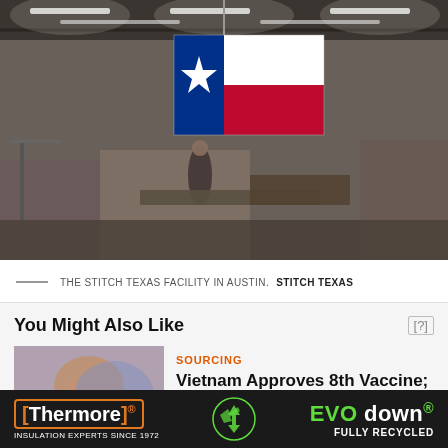[Figure (photo): Interior of the Stitch Texas garment manufacturing facility in Austin. A large Texas state flag (lone star, blue/red/white) hangs from the ceiling. Workers and sewing machines are visible on the floor below fluorescent lighting.]
THE STITCH TEXAS FACILITY IN AUSTIN. STITCH TEXAS
You Might Also Like
[Figure (photo): Close-up of a hand holding a small medicine vial or vaccine bottle.]
SOURCING
Vietnam Approves 8th Vaccine; Big Win for Factories?
[Figure (other): Advertisement banner for Thermore EVO down insulation. Black background with orange-outlined Thermore logo on left, recycling icon in center, and green/white EVO down logo with FULLY RECYCLED text on right. Tagline: INSULATION EXPERTS SINCE 1972.]